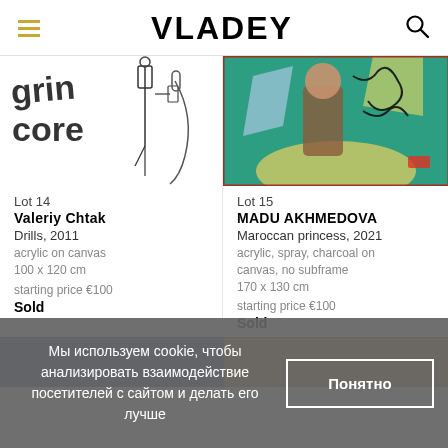VLADEY
[Figure (illustration): Artwork showing 'grindcore' text in large black letters with industrial drill imagery on white background]
[Figure (illustration): Colorful artwork showing a figure with teal/green background, Maroccan princess theme]
Lot 14
Valeriy Chtak
Drills, 2011
acrylic on canvas
100 x 120 cm
starting price €100
Sold
Lot 15
MADU AKHMEDOVA
Maroccan princess, 2021
acrylic, spray, charcoal on canvas, no subframe
170 x 130 cm
starting price €100
Sold
Мы используем cookie, чтобы анализировать взаимодействие посетителей с сайтом и делать его лучше
Понятно